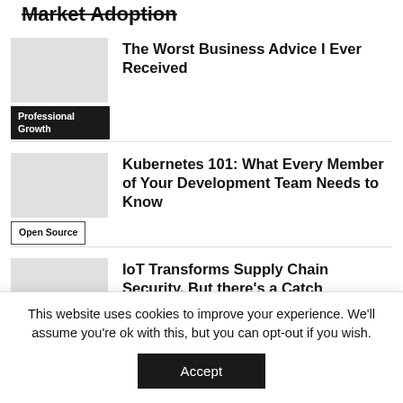Market Adoption
The Worst Business Advice I Ever Received
Professional Growth
Kubernetes 101: What Every Member of Your Development Team Needs to Know
Open Source
IoT Transforms Supply Chain Security, But there's a Catch
Internet of Things (IoT)
5 Benefits of Developing in Shared Cloud
This website uses cookies to improve your experience. We'll assume you're ok with this, but you can opt-out if you wish.
Accept